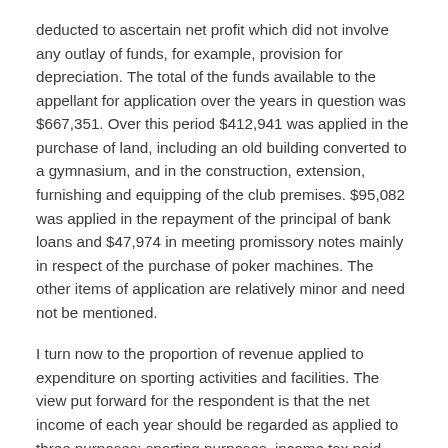deducted to ascertain net profit which did not involve any outlay of funds, for example, provision for depreciation. The total of the funds available to the appellant for application over the years in question was $667,351. Over this period $412,941 was applied in the purchase of land, including an old building converted to a gymnasium, and in the construction, extension, furnishing and equipping of the club premises. $95,082 was applied in the repayment of the principal of bank loans and $47,974 in meeting promissory notes mainly in respect of the purchase of poker machines. The other items of application are relatively minor and need not be mentioned.
I turn now to the proportion of revenue applied to expenditure on sporting activities and facilities. The view put forward for the respondent is that the net income of each year should be regarded as applied to three purposes: sporting purposes, income tax paid, and accumulations. The third purpose includes expenditure on capital items and repayments of loans. Measured in this way the percentage of net income of the appellant applied for sporting